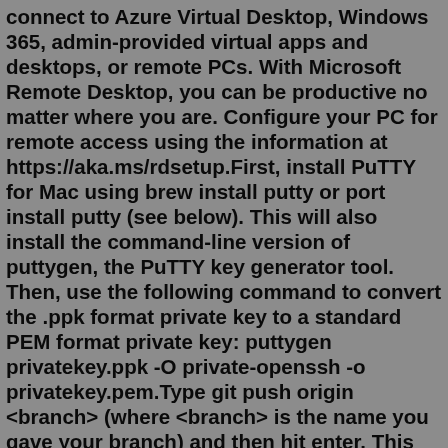connect to Azure Virtual Desktop, Windows 365, admin-provided virtual apps and desktops, or remote PCs. With Microsoft Remote Desktop, you can be productive no matter where you are. Configure your PC for remote access using the information at https://aka.ms/rdsetup.First, install PuTTY for Mac using brew install putty or port install putty (see below). This will also install the command-line version of puttygen, the PuTTY key generator tool. Then, use the following command to convert the .ppk format private key to a standard PEM format private key: puttygen privatekey.ppk -O private-openssh -o privatekey.pem.Type git push origin <branch> (where <branch> is the name you gave your branch) and then hit enter. This uploads your branch and changes to the 18f.gsa.gov project on GitHub. Now, go back to 18F on GitHub and you should see that you recently pushed a branch. It will look like this: Click Compare and Pull Request.Showing the hidden Library folder in the Finder. Showing hidden files on a Mac using Terminal commands. Step 1: Open Terminal. Step 2: